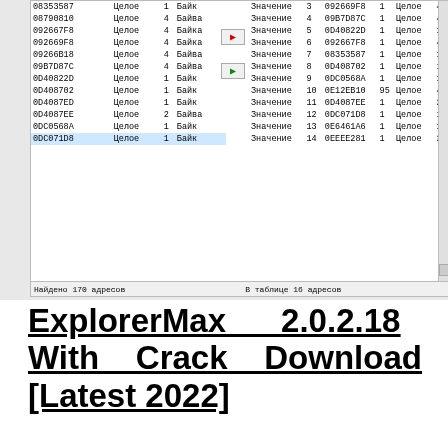[Figure (screenshot): Screenshot of a memory scanner/editor application showing two panels with hex addresses, data types, sizes, and values in Russian (Целое = Integer, Байт = Byte). Left panel shows addresses like 08353587, 08790810, etc. Middle panel shows Значение (Value) entries 3-14 with corresponding hex addresses. Right panel shows types and sizes. Arrows between panels. Status bar shows 'Найдено 170 адресов' and 'В таблице 16 адресов'.]
ExplorerMax 2.0.2.18 With Crack Download [Latest 2022]
[Figure (infographic): Red/salmon colored card with a darker red 'Read more' button and white text reading 'Razer Cortex Game Booster 9.15.19.1412 Crack +Keygen 2021']
The Cleaner latest features could also...